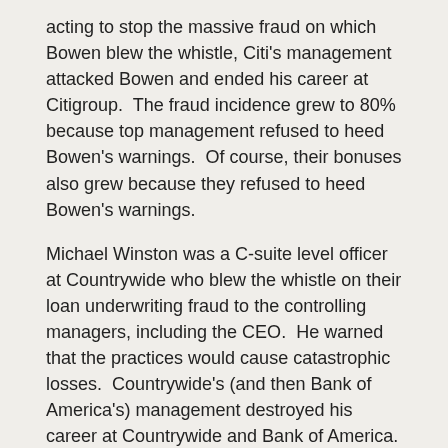acting to stop the massive fraud on which Bowen blew the whistle, Citi's management attacked Bowen and ended his career at Citigroup.  The fraud incidence grew to 80% because top management refused to heed Bowen's warnings.  Of course, their bonuses also grew because they refused to heed Bowen's warnings.
Michael Winston was a C-suite level officer at Countrywide who blew the whistle on their loan underwriting fraud to the controlling managers, including the CEO.  He warned that the practices would cause catastrophic losses.  Countrywide's (and then Bank of America's) management destroyed his career at Countrywide and Bank of America.
Recall the top five traits of the ideal director.
Courage